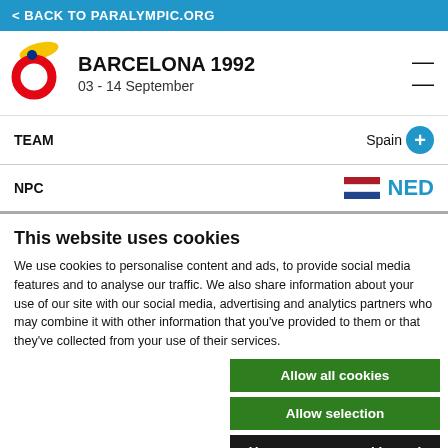< BACK TO PARALYMPIC.ORG
BARCELONA 1992
03 - 14 September
TEAM    Spain +
NPC    NED
This website uses cookies
We use cookies to personalise content and ads, to provide social media features and to analyse our traffic. We also share information about your use of our site with our social media, advertising and analytics partners who may combine it with other information that you've provided to them or that they've collected from your use of their services.
Allow all cookies
Allow selection
Use necessary cookies only
Necessary  Preferences  Statistics  Marketing  Show details